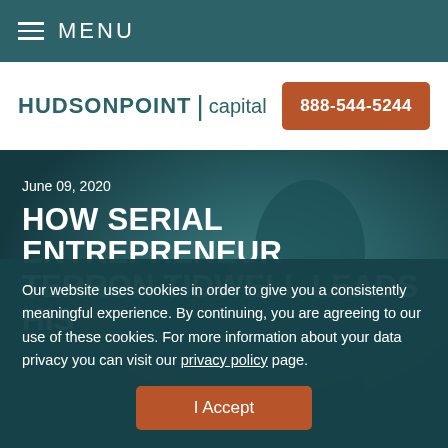MENU
[Figure (logo): HUDSONPOINT capital logo with phone number button 888-544-5244]
June 09, 2020
HOW SERIAL ENTREPRENEUR TERRON TIDWELL LEADS HIS
Our website uses cookies in order to give you a consistently meaningful experience. By continuing, you are agreeing to our use of these cookies. For more information about your data privacy you can visit our privacy policy page.
I Accept